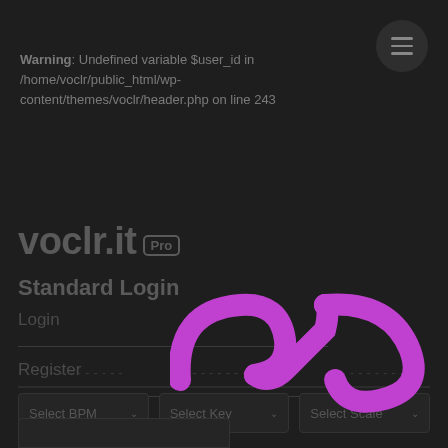[Figure (screenshot): Menu hamburger button (three horizontal lines) in a dark circular button at top right]
Warning: Undefined variable $user_id in /home/voclr/public_html/wp-content/themes/voclr/header.php on line 243
voclr.it PRO
Standard Login
Login
Register
[Figure (logo): Voclr.it infinity-style pink/magenta logo mark overlaid in center]
Select BPM
Select Key
Select Scale